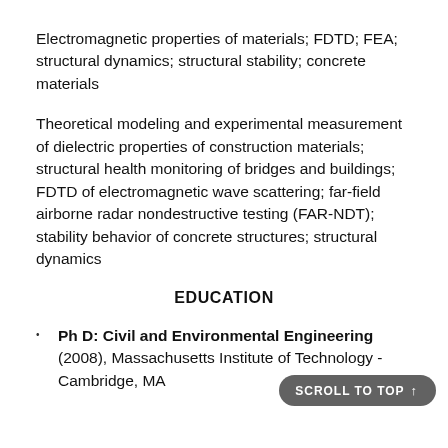Electromagnetic properties of materials; FDTD; FEA; structural dynamics; structural stability; concrete materials
Theoretical modeling and experimental measurement of dielectric properties of construction materials; structural health monitoring of bridges and buildings; FDTD of electromagnetic wave scattering; far-field airborne radar nondestructive testing (FAR-NDT); stability behavior of concrete structures; structural dynamics
EDUCATION
Ph D: Civil and Environmental Engineering (2008), Massachusetts Institute of Technology - Cambridge, MA